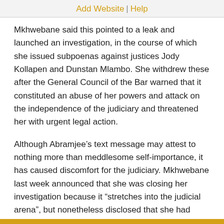Add Website | Help
Mkhwebane said this pointed to a leak and launched an investigation, in the course of which she issued subpoenas against justices Jody Kollapen and Dunstan Mlambo. She withdrew these after the General Council of the Bar warned that it constituted an abuse of her powers and attack on the independence of the judiciary and threatened her with urgent legal action.
Although Abramjee’s text message may attest to nothing more than meddlesome self-importance, it has caused discomfort for the judiciary. Mkhwebane last week announced that she was closing her investigation because it “stretches into the judicial arena”, but nonetheless disclosed that she had obtained cell phone records that reflected 18 phone calls between Kollapen and Abramjee and one between Abramjee and Mlambo.